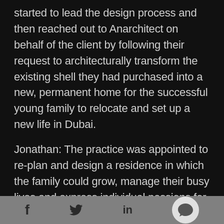started to lead the design process and then reached out to Anarchitect on behalf of the client by following their request to architecturally transform the existing shell they had purchased into a new, permanent home for the successful young family to relocate and set up a new life in Dubai.
Jonathan: The practice was appointed to re-plan and design a residence in which the family could grow, manage their busy lives and express individual passions for fashion, art, motorsports and upscale social gatherings. The brief was to create an understated, contemporary home, rich in materiality and refined in detail with clean
f  [twitter]  in  [chat]